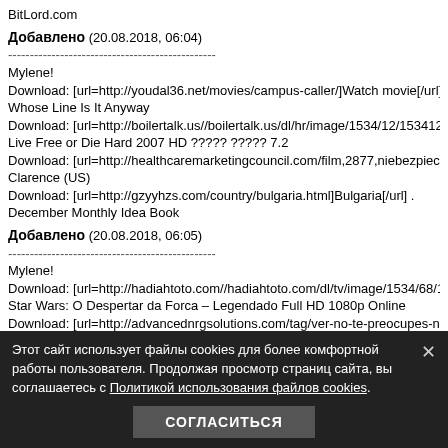BitLord.com
Добавлено (20.08.2018, 06:04)
------------------------------------------------
Mylene!
Download: [url=http://youdal36.net/movies/campus-caller/]Watch movie[/url] .
Whose Line Is It Anyway
Download: [url=http://boilertalk.us//boilertalk.us/dl/hr/image/1534/12/1534127142440.jpg]Dow
Live Free or Die Hard 2007 HD ????? ????? 7.2
Download: [url=http://healthcaremarketingcouncil.com/film,2877,niebezpieczne-zwiazki--dang
Clarence (US)
Download: [url=http://gzyyhzs.com/country/bulgaria.html]Bulgaria[/url] .
December Monthly Idea Book
Добавлено (20.08.2018, 06:05)
------------------------------------------------
Mylene!
Download: [url=http://hadiahtoto.com//hadiahtoto.com/dl/tv/image/1534/68/1534688996494.jp
Star Wars: O Despertar da Forca – Legendado Full HD 1080p Online
Download: [url=http://advancednrgsolutions.com/tag/ver-no-te-preocupes-no-llegara-lejos-a-p
Encyclopedias
Download: [url=http://bresciapools.com/watch/EdBBY9dj-shahs-of-sunset-season-7.html]Sha
Last »
Download: [url=http://homesbycarranza.com/memberlist.php?mode=viewprofile&u=1095183&
CAPTAIN AMERICA AND BLACK WIDOW 640 Final Issue (Nahga-Empire)
Добавлено (20.08.2018, 06:47)
------------------------------------------------
Mylene!
Download: [url=http://092449.com/tv/t21/Anne-of-Green-Gables-The-Sequel]MDb: 8.3 S1E5
Tu
Download: [url=http://av1to.info/1605-borgia-saison-2.html]Borgia - Saison 2[/url] .
Download: [url=ht
Download Torrent
Download: [url=http://beerpong.tv/g
ClashBot 7.2 - The Best Clash of C
Этот сайт использует файлы cookies для более комфортной работы пользователя. Продолжая просмотр страниц сайта, вы соглашаетесь с Политикой использования файлов cookies.
СОГЛАСИТЬСЯ